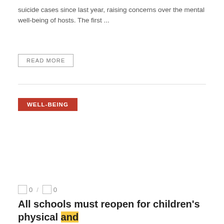suicide cases since last year, raising concerns over the mental well-being of hosts. The first ...
READ MORE
WELL-BEING
0 / 0
All schools must reopen for children's physical and mental well-being: Docs | Nagpur News